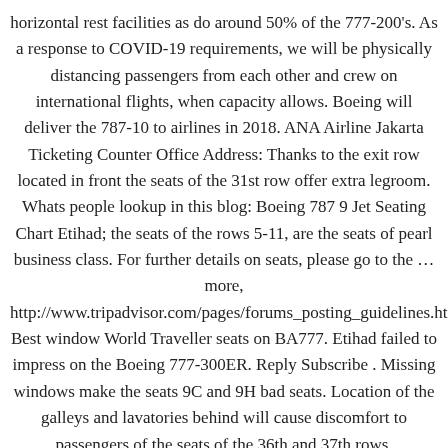horizontal rest facilities as do around 50% of the 777-200's. As a response to COVID-19 requirements, we will be physically distancing passengers from each other and crew on international flights, when capacity allows. Boeing will deliver the 787-10 to airlines in 2018. ANA Airline Jakarta Ticketing Counter Office Address: Thanks to the exit row located in front the seats of the 31st row offer extra legroom. Whats people lookup in this blog: Boeing 787 9 Jet Seating Chart Etihad; the seats of the rows 5-11, are the seats of pearl business class. For further details on seats, please go to the … more, http://www.tripadvisor.com/pages/forums_posting_guidelines.html, Best window World Traveller seats on BA777. Etihad failed to impress on the Boeing 777-300ER. Reply Subscribe . Missing windows make the seats 9C and 9H bad seats. Location of the galleys and lavatories behind will cause discomfort to passengers of the seats of the 36th and 37th rows. Also 1K on the etihad ...